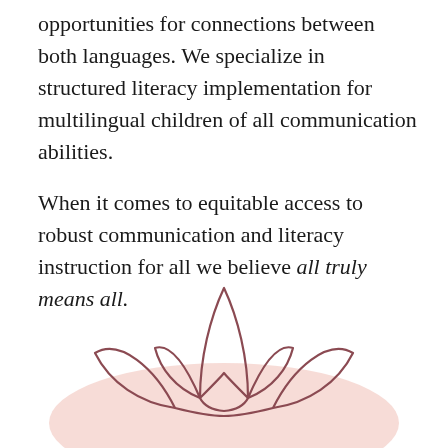opportunities for connections between both languages. We specialize in structured literacy implementation for multilingual children of all communication abilities.
When it comes to equitable access to robust communication and literacy instruction for all we believe all truly means all.
[Figure (illustration): A lotus flower illustration with an outline style in dark rose/mauve color, with a large soft pink circle behind it as a background accent.]